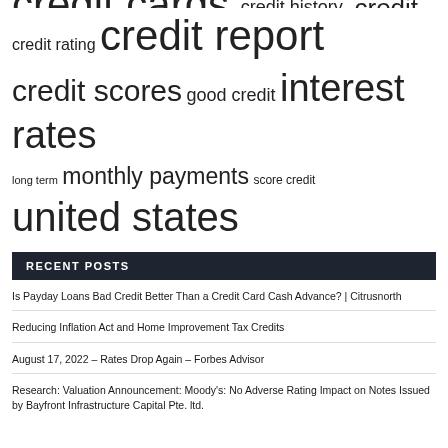[Figure (infographic): Tag cloud of finance/credit related terms in varying font sizes indicating frequency/importance. Terms include: credit cards, credit history, credit limit, credit rating, credit report, credit scores, good credit, interest rates, long term, monthly payments, score credit, united states.]
RECENT POSTS
Is Payday Loans Bad Credit Better Than a Credit Card Cash Advance? | Citrusnorth
Reducing Inflation Act and Home Improvement Tax Credits
August 17, 2022 – Rates Drop Again – Forbes Advisor
Research: Valuation Announcement: Moody's: No Adverse Rating Impact on Notes Issued by Bayfront Infrastructure Capital Pte. ltd.